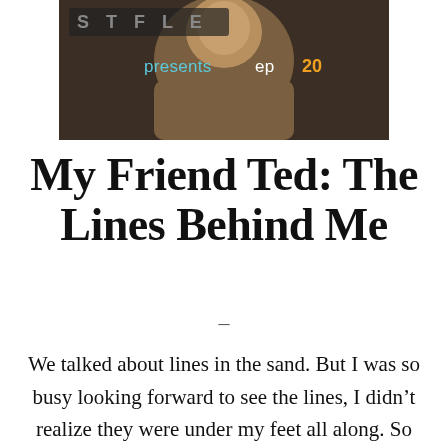[Figure (photo): A thumbnail image showing a person wearing a brown hoodie with overlaid text reading 'presents ep 20' in white and orange on a dark background]
My Friend Ted: The Lines Behind Me
—
We talked about lines in the sand. But I was so busy looking forward to see the lines, I didn't realize they were under my feet all along. So that's when I had the